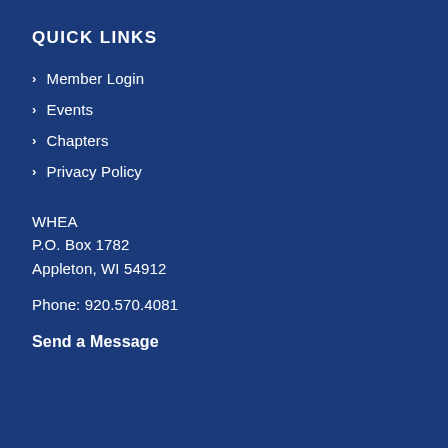QUICK LINKS
Member Login
Events
Chapters
Privacy Policy
WHEA
P.O. Box 1782
Appleton, WI 54912
Phone: 920.570.4081
Send a Message